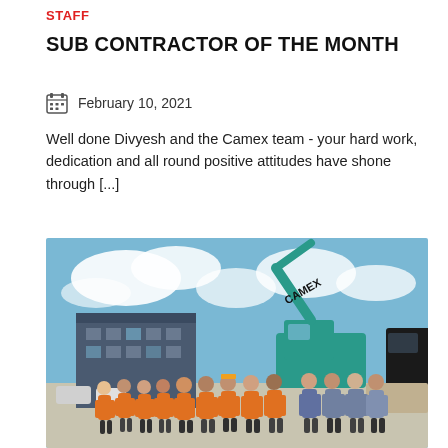STAFF
SUB CONTRACTOR OF THE MONTH
February 10, 2021
Well done Divyesh and the Camex team - your hard work, dedication and all round positive attitudes have shone through [...]
[Figure (photo): Group photo of construction workers and staff standing in front of a teal/green Camex excavator in a yard, blue sky with clouds in background, workers wearing high-vis orange gear.]